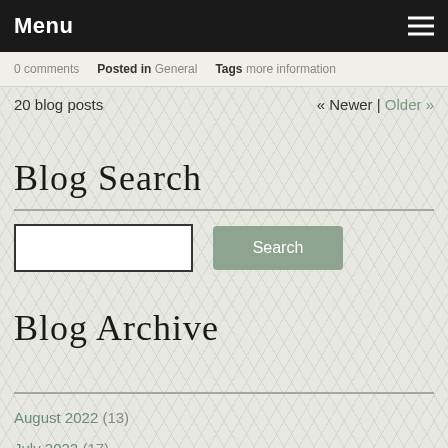Menu
0 comments  Posted in General  Tags more information
20 blog posts
« Newer | Older »
Blog Search
Blog Archive
August 2022 (13)
July 2022 (17)